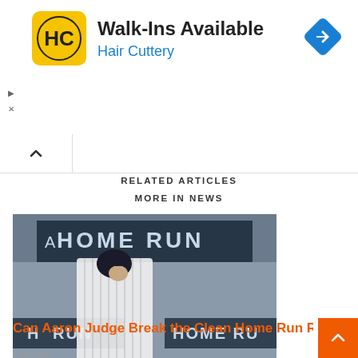[Figure (infographic): Hair Cuttery advertisement banner with logo, text 'Walk-Ins Available' and 'Hair Cuttery', and navigation arrow icon]
RELATED ARTICLES
MORE IN NEWS
[Figure (photo): Aaron Judge in New York Yankees pinstripe uniform rounding the bases after a home run, with 'HOME RUN' displayed on stadium scoreboard and crowd in background]
Can Aaron Judge Break the Clean Home Run Record?
3 days ago